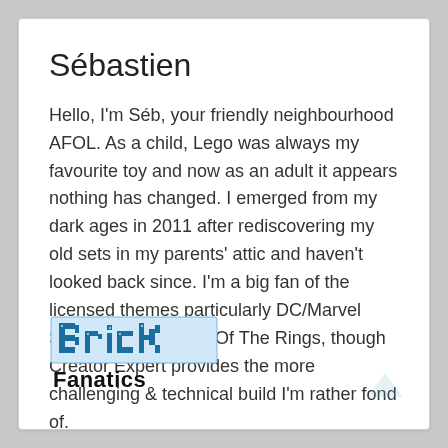Sébastien
Hello, I'm Séb, your friendly neighbourhood AFOL. As a child, Lego was always my favourite toy and now as an adult it appears nothing has changed. I emerged from my dark ages in 2011 after rediscovering my old sets in my parents' attic and haven't looked back since. I'm a big fan of the licensed themes particularly DC/Marvel Superheroes & Lord Of The Rings, though Creator Expert provides the more challenging & technical build I'm rather fond of.
[Figure (logo): Brick Fanatics logo with pixelated 'Brick' text in blue/white and 'Fanatics' in bold black below]